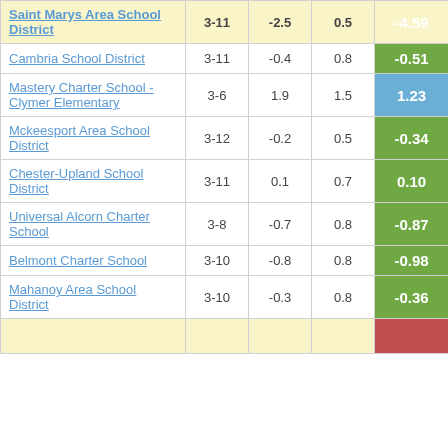| School/District | Grades | Col3 | Col4 | Score |
| --- | --- | --- | --- | --- |
| Saint Marys Area School District | 3-11 | -2.5 | 0.5 | -4.59 |
| Cambria School District | 3-11 | -0.4 | 0.8 | -0.51 |
| Mastery Charter School - Clymer Elementary | 3-6 | 1.9 | 1.5 | 1.23 |
| Mckeesport Area School District | 3-12 | -0.2 | 0.5 | -0.34 |
| Chester-Upland School District | 3-11 | 0.1 | 0.7 | 0.10 |
| Universal Alcorn Charter School | 3-8 | -0.7 | 0.8 | -0.87 |
| Belmont Charter School | 3-10 | -0.8 | 0.8 | -0.98 |
| Mahanoy Area School District | 3-10 | -0.3 | 0.8 | -0.36 |